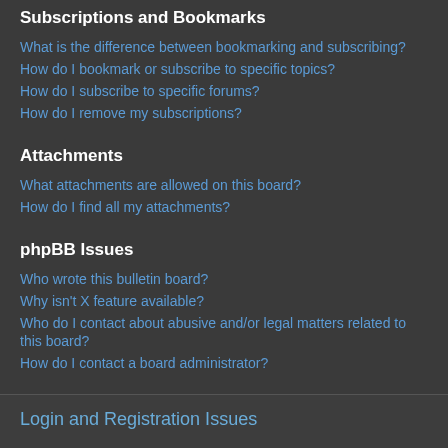Subscriptions and Bookmarks
What is the difference between bookmarking and subscribing?
How do I bookmark or subscribe to specific topics?
How do I subscribe to specific forums?
How do I remove my subscriptions?
Attachments
What attachments are allowed on this board?
How do I find all my attachments?
phpBB Issues
Who wrote this bulletin board?
Why isn't X feature available?
Who do I contact about abusive and/or legal matters related to this board?
How do I contact a board administrator?
Login and Registration Issues
Why do I need to register?
You may not have to, it is up to the administrator of the board as to whether you need to register in order to post messages. However;